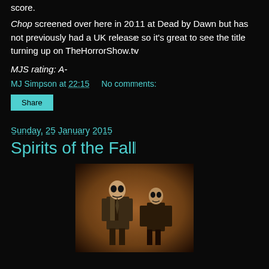score.
Chop screened over here in 2011 at Dead by Dawn but has not previously had a UK release so it's great to see the title turning up on TheHorrorShow.tv
MJS rating: A-
MJ Simpson at 22:15    No comments:
Share
Sunday, 25 January 2015
Spirits of the Fall
[Figure (photo): Sepia-toned vintage photograph of two figures in formal attire with skull-like faces]